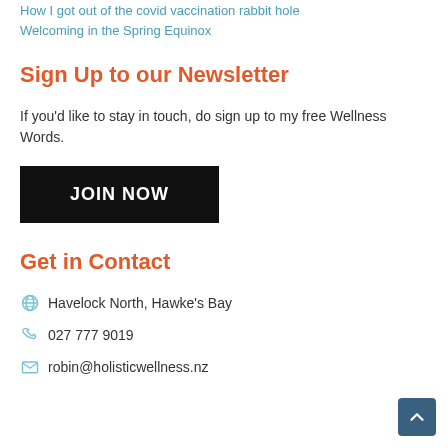How I got out of the covid vaccination rabbit hole
Welcoming in the Spring Equinox
Sign Up to our Newsletter
If you'd like to stay in touch,  do sign up to my free Wellness Words.
JOIN NOW
Get in Contact
Havelock North, Hawke's Bay
027 777 9019
robin@holisticwellness.nz